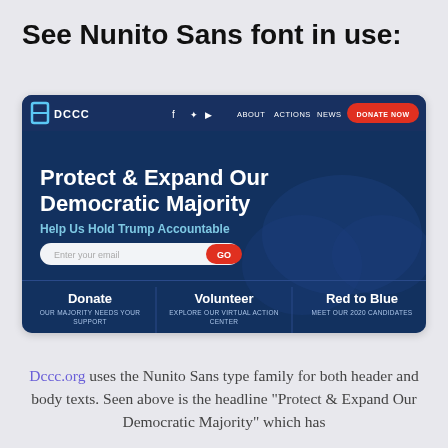See Nunito Sans font in use:
[Figure (screenshot): Screenshot of dccc.org website featuring a dark blue navy header with navigation (ABOUT, ACTIONS, NEWS, DONATE NOW button in red), large hero text 'Protect & Expand Our Democratic Majority', subheading 'Help Us Hold Trump Accountable', email input field with red GO button, and three columns at bottom: Donate, Volunteer, Red to Blue with small descriptive text.]
Dccc.org uses the Nunito Sans type family for both header and body texts. Seen above is the headline "Protect & Expand Our Democratic Majority" which has